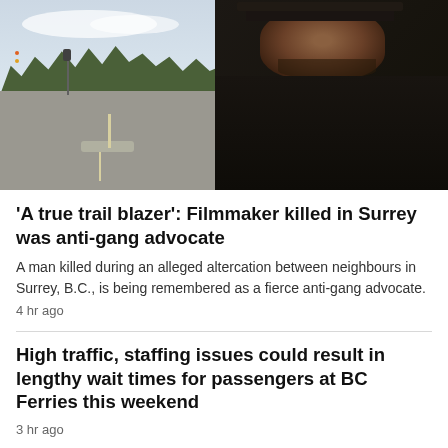[Figure (photo): A man with a beard wearing a dark hoodie and cap stands outdoors near a road intersection with trees and traffic lights in the background.]
'A true trail blazer': Filmmaker killed in Surrey was anti-gang advocate
A man killed during an alleged altercation between neighbours in Surrey, B.C., is being remembered as a fierce anti-gang advocate.
4 hr ago
High traffic, staffing issues could result in lengthy wait times for passengers at BC Ferries this weekend
3 hr ago